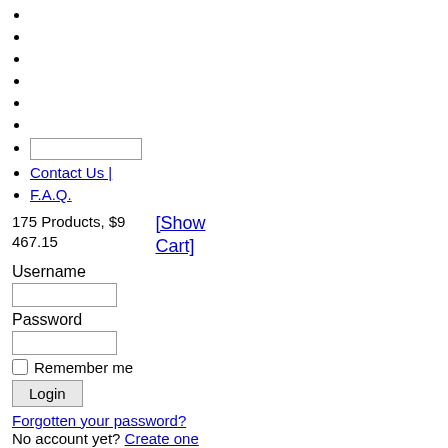(search input field)
Contact Us |
F.A.Q.
175 Products, $9 467.15
[Show Cart]
Username
Password
Remember me
Login
Forgotten your password?
No account yet? Create one